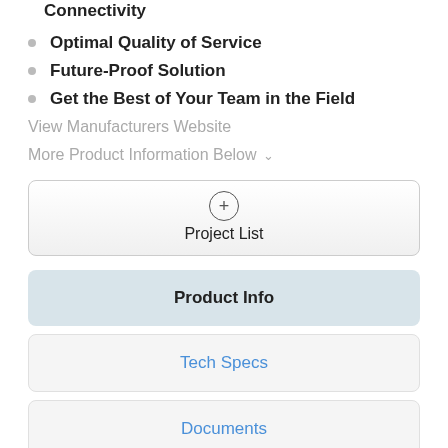Connectivity
Optimal Quality of Service
Future-Proof Solution
Get the Best of Your Team in the Field
View Manufacturers Website
More Product Information Below ˅
+ Project List
Product Info
Tech Specs
Documents